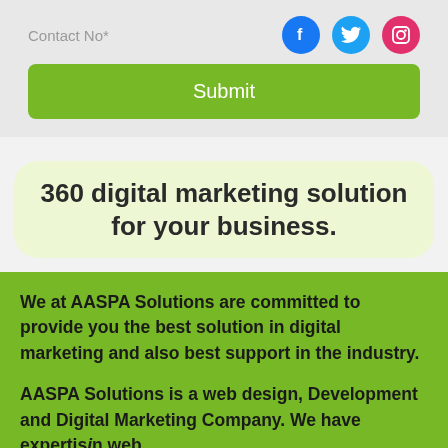Contact No*
[Figure (screenshot): Social media icons: Facebook (blue circle with f), Twitter (blue circle with bird), Instagram (pink circle with camera)]
Submit
360 digital marketing solution for your business.
We at AASPA Solutions are committed to provide you the best solution in digital marketing and also best support in the industry.
AASPA Solutions is a web design, Development and Digital Marketing Company. We have expertis in web
Inquire Now | Call Now